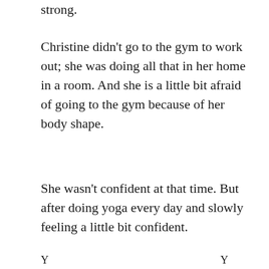strong.
Christine didn't go to the gym to work out; she was doing all that in her home in a room. And she is a little bit afraid of going to the gym because of her body shape.
She wasn't confident at that time. But after doing yoga every day and slowly feeling a little bit confident.
Y                                   Y